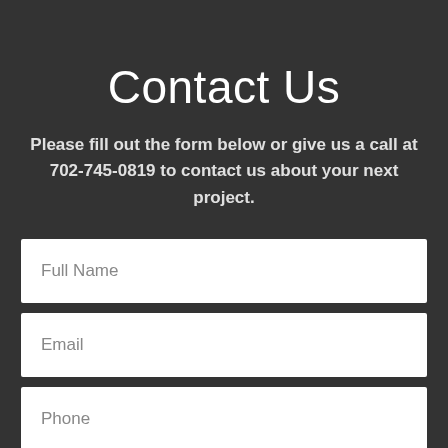Contact Us
Please fill out the form below or give us a call at 702-745-0819 to contact us about your next project.
Full Name
Email
Phone